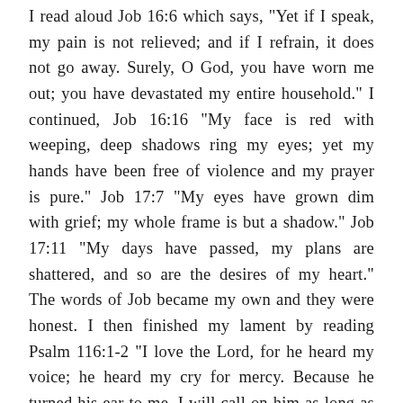I read aloud Job 16:6 which says, "Yet if I speak, my pain is not relieved; and if I refrain, it does not go away. Surely, O God, you have worn me out; you have devastated my entire household." I continued, Job 16:16 "My face is red with weeping, deep shadows ring my eyes; yet my hands have been free of violence and my prayer is pure." Job 17:7 "My eyes have grown dim with grief; my whole frame is but a shadow." Job 17:11 "My days have passed, my plans are shattered, and so are the desires of my heart." The words of Job became my own and they were honest. I then finished my lament by reading Psalm 116:1-2 "I love the Lord, for he heard my voice; he heard my cry for mercy. Because he turned his ear to me, I will call on him as long as I live." That was the offering I could give. It was fragile and it was broken, but it was also sincere